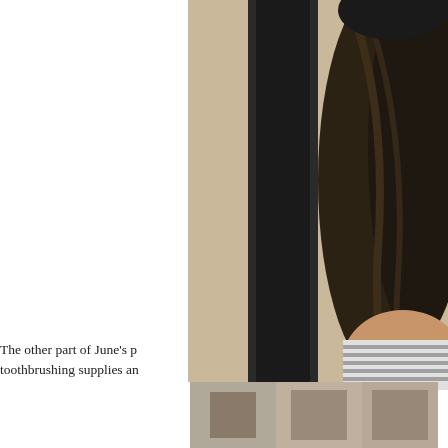[Figure (photo): Partial photograph of a person with long dark hair seen from behind/side, wearing a striped garment, standing near a dark door frame against a beige wall.]
The other part of June's p... toothbrushing supplies an...
[Figure (photo): Small thumbnail photo at bottom of page (partially visible)]
[Figure (photo): Small thumbnail photo at bottom of page (partially visible)]
[Figure (photo): Small thumbnail photo at bottom of page (partially visible)]